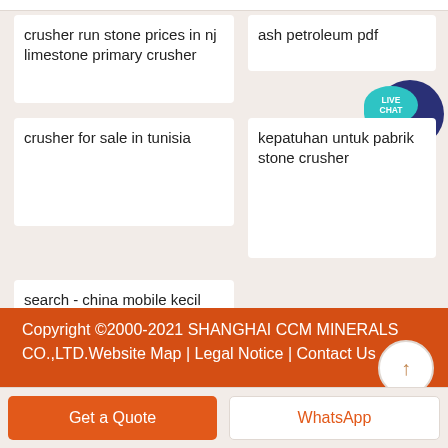crusher run stone prices in nj
limestone primary crusher
ash petroleum pdf
crusher for sale in tunisia
kepatuhan untuk pabrik stone crusher
search - china mobile kecil batu crusher shandong
Copyright ©2000-2021 SHANGHAI CCM MINERALS CO.,LTD.Website Map | Legal Notice | Contact Us
Get a Quote
WhatsApp